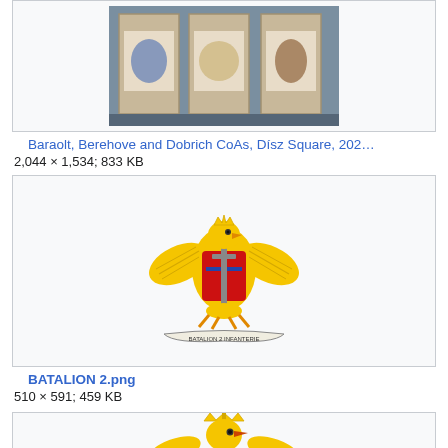[Figure (photo): Photo of Baraolt, Berehove and Dobrich CoAs displayed on stone panels at Dísz Square]
Baraolt, Berehove and Dobrich CoAs, Dísz Square, 202…
2,044 × 1,534; 833 KB
[Figure (illustration): Romanian military battalion coat of arms / emblem featuring a golden eagle with a red shield, cross and weapons, with a banner reading BATALION 2 INFANTERIE J.A.LIGOR or similar]
BATALION 2.png
510 × 591; 459 KB
[Figure (illustration): Partial view of another Romanian military emblem with golden eagle, visible from the crown downward, cut off at bottom of page]